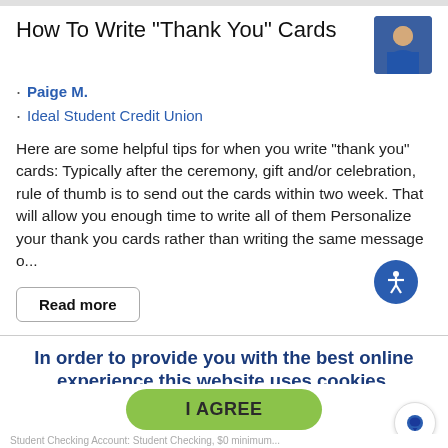How To Write "Thank You" Cards
Paige M.
Ideal Student Credit Union
Here are some helpful tips for when you write “thank you” cards: Typically after the ceremony, gift and/or celebration, rule of thumb is to send out the cards within two week. That will allow you enough time to write all of them Personalize your thank you cards rather than writing the same message o...
Read more
In order to provide you with the best online experience this website uses cookies.
By using our website, you agree to our use of cookies. Learn more
I AGREE
Student Checking Account: Student Checking, $0 minimum...